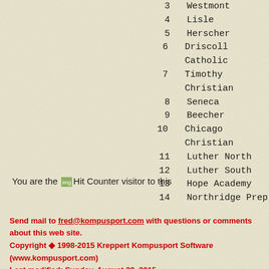3   Westmont
4   Lisle
5   Herscher
6   Driscoll Catholic
7   Timothy Christian
8   Seneca
9   Beecher
10  Chicago Christian
11  Luther North
12  Luther South
13  Hope Academy
14  Northridge Prep
You are the [Hit Counter] visitor to this
Send mail to fred@kompusport.com with questions or comments about this web site.
Copyright ◆ 1998-2015 Kreppert Kompusport Software (www.kompusport.com)
Last modified: Sunday, August 23, 2015